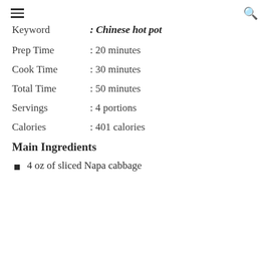≡  🔍
Keyword : Chinese hot pot
Prep Time : 20 minutes
Cook Time : 30 minutes
Total Time : 50 minutes
Servings : 4 portions
Calories : 401 calories
Main Ingredients
4 oz of sliced Napa cabbage